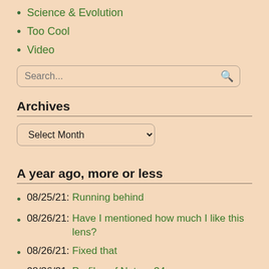Science & Evolution
Too Cool
Video
[Figure (other): Search input box with placeholder text 'Search...' and a search icon button]
Archives
[Figure (other): Dropdown select box labeled 'Select Month']
A year ago, more or less
08/25/21: Running behind
08/26/21: Have I mentioned how much I like this lens?
08/26/21: Fixed that
08/26/21: Profiles of Nature 34